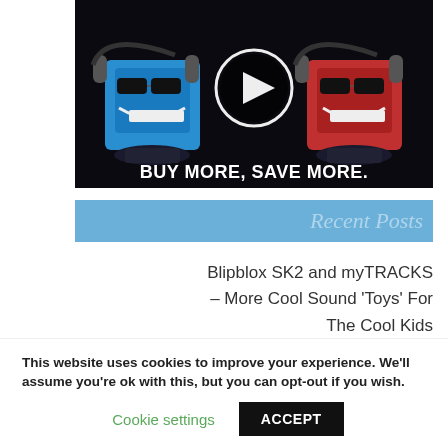[Figure (illustration): Advertisement showing two animated cartoon characters wearing headphones — a blue one on the left and a red one on the right — with a white circular play button in the center. Text at the bottom reads 'BUY MORE, SAVE MORE.' on a dark background.]
Recent Posts
Blipblox SK2 and myTRACKS – More Cool Sound 'Toys' For The Cool Kids
This website uses cookies to improve your experience. We'll assume you're ok with this, but you can opt-out if you wish.
Cookie settings   ACCEPT